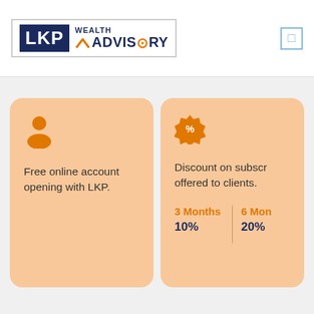[Figure (logo): LKP Wealth Advisory logo with dark blue LKP text block and mountain/arrow icon with WEALTH ADVISORY text]
Free online account opening with LKP.
Discount on subscription offered to clients. 3 Months 10% | 6 Months 20%